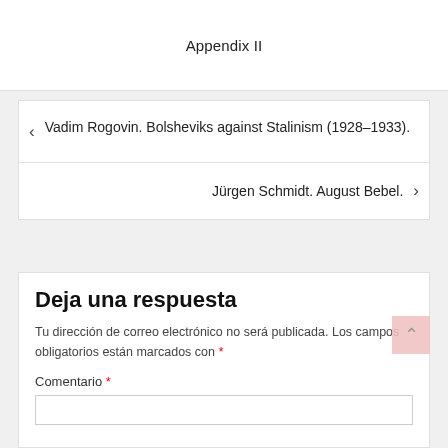Appendix II
< Vadim Rogovin. Bolsheviks against Stalinism (1928–1933).
Jürgen Schmidt. August Bebel. >
Deja una respuesta
Tu dirección de correo electrónico no será publicada. Los campos obligatorios están marcados con *
Comentario *